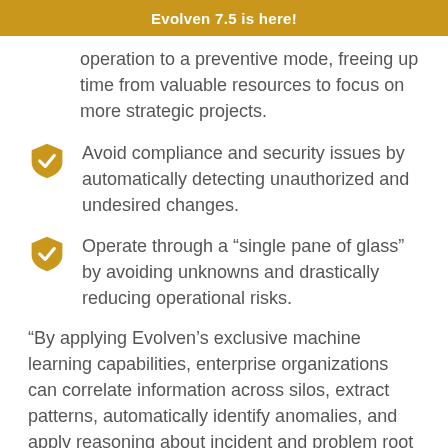Evolven 7.5 is here!
operation to a preventive mode, freeing up time from valuable resources to focus on more strategic projects.
Avoid compliance and security issues by automatically detecting unauthorized and undesired changes.
Operate through a “single pane of glass” by avoiding unknowns and drastically reducing operational risks.
“By applying Evolven’s exclusive machine learning capabilities, enterprise organizations can correlate information across silos, extract patterns, automatically identify anomalies, and apply reasoning about incident and problem root causes,” said Boštjan Kaluža, Chief Data Scientist for Evolven. “With